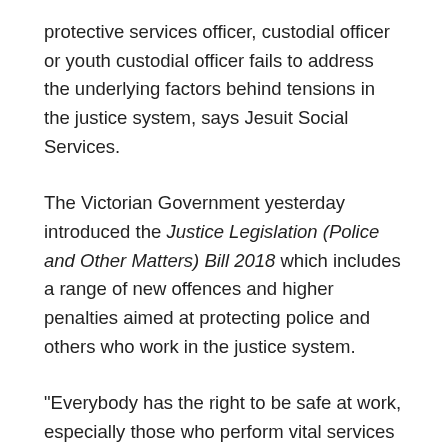protective services officer, custodial officer or youth custodial officer fails to address the underlying factors behind tensions in the justice system, says Jesuit Social Services.
The Victorian Government yesterday introduced the Justice Legislation (Police and Other Matters) Bill 2018 which includes a range of new offences and higher penalties aimed at protecting police and others who work in the justice system.
"Everybody has the right to be safe at work, especially those who perform vital services and keep the community safe, like police officers," says Jesuit Social Services CEO Julie Edwards.